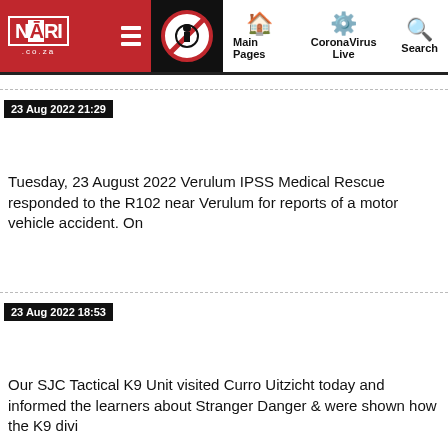NARI.co.za | Main Pages | CoronaVirus Live | Search
23 Aug 2022 21:29
Tuesday, 23 August 2022 Verulum IPSS Medical Rescue responded to the R102 near Verulum for reports of a motor vehicle accident. On
23 Aug 2022 18:53
Our SJC Tactical K9 Unit visited Curro Uitzicht today and informed the learners about Stranger Danger & were shown how the K9 divi